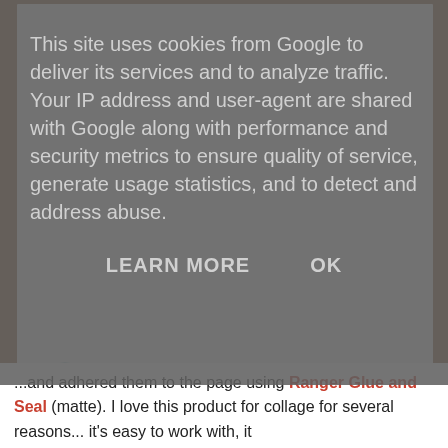This site uses cookies from Google to deliver its services and to analyze traffic. Your IP address and user-agent are shared with Google along with performance and security metrics to ensure quality of service, generate usage statistics, and to detect and address abuse.
LEARN MORE    OK
[Figure (photo): A crafted/collage artwork photo showing teal/green abstract painted fabric or paper with letter stamp impressions (ABC, UKL MNO POI, XYZ, etc.), mesh/net circular objects, a honeycomb-patterned oval shape, all arranged on a brown wooden surface background.]
...and adhered them to the page using Ranger Glue and Seal (matte). I love this product for collage for several reasons... it's easy to work with, it